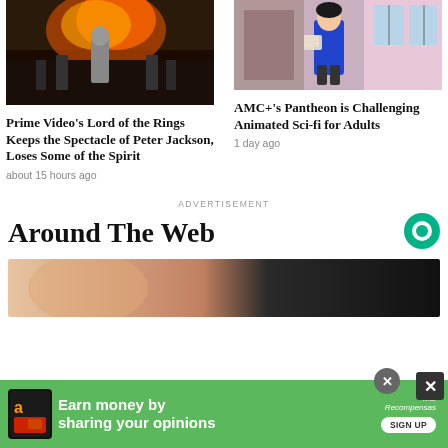[Figure (photo): Movie still from Lord of the Rings showing a figure in gray costume with fire and crowd in background]
Prime Video’s Lord of the Rings Keeps the Spectacle of Peter Jackson, Loses Some of the Spirit
about 15 hours ago
[Figure (photo): Animated character from AMC+ Pantheon show, figure in blue shirt standing near window]
AMC+’s Pantheon is Challenging Animated Sci-fi for Adults
1 day ago
ADVERTISEMENT
Around The Web
[Figure (photo): Promotional image fading from warm skin tones to dark background]
[Figure (photo): Bottom advertisement banner: Earn money by sharing your opinions - Sign Up]